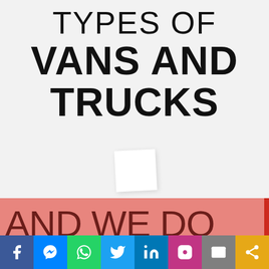TYPES OF VANS AND TRUCKS
AND WE DO MORE COOL
[Figure (infographic): Social media sharing bar with icons for Facebook, Messenger, WhatsApp, Twitter, LinkedIn, Instagram, Email, and Share]